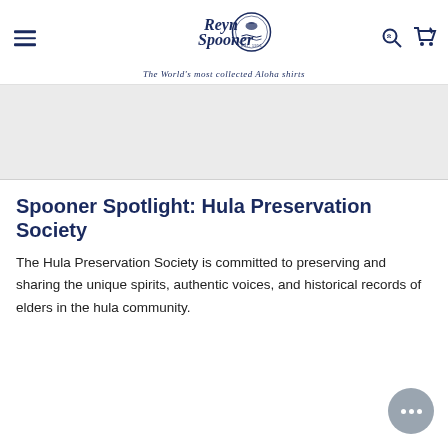Reyn Spooner — The World's most collected Aloha shirts
[Figure (illustration): Gray banner image area placeholder]
Spooner Spotlight: Hula Preservation Society
The Hula Preservation Society is committed to preserving and sharing the unique spirits, authentic voices, and historical records of elders in the hula community.